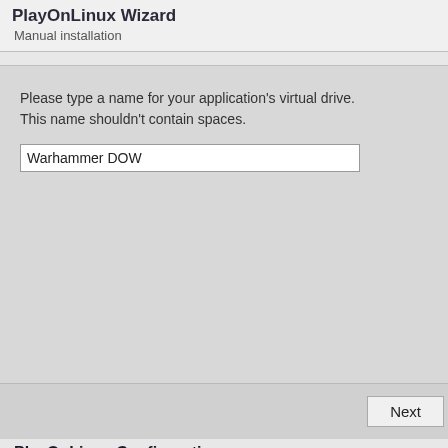PlayOnLinux Wizard
Manual installation
Please type a name for your application's virtual drive. This name shouldn't contain spaces.
Warhammer DOW
Next
PlayOnLinux Configuration